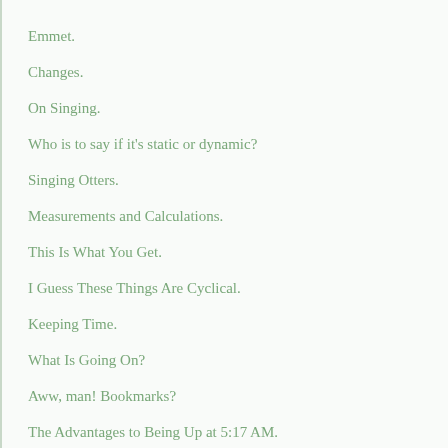Emmet.
Changes.
On Singing.
Who is to say if it's static or dynamic?
Singing Otters.
Measurements and Calculations.
This Is What You Get.
I Guess These Things Are Cyclical.
Keeping Time.
What Is Going On?
Aww, man! Bookmarks?
The Advantages to Being Up at 5:17 AM.
Three-Point Shootout: Season 2!